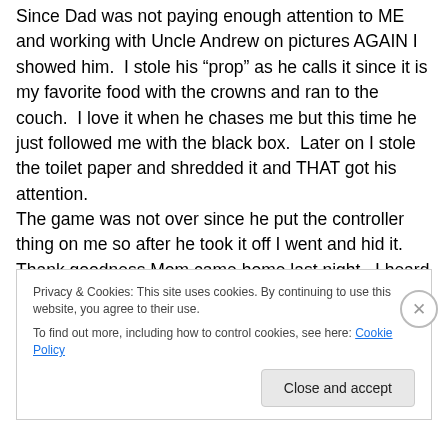Since Dad was not paying enough attention to ME and working with Uncle Andrew on pictures AGAIN I showed him. I stole his “prop” as he calls it since it is my favorite food with the crowns and ran to the couch. I love it when he chases me but this time he just followed me with the black box. Later on I stole the toilet paper and shredded it and THAT got his attention. The game was not over since he put the controller thing on me so after he took it off I went and hid it. Thank goodness Mom came home last night. I heard Dad has to
Privacy & Cookies: This site uses cookies. By continuing to use this website, you agree to their use.
To find out more, including how to control cookies, see here: Cookie Policy
Close and accept